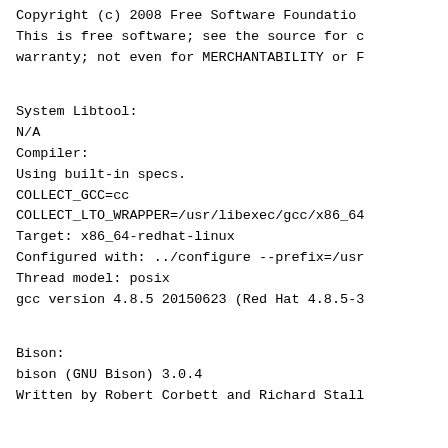Copyright (C) 2008  Free Software Foundation,
This is free software; see the source for c
warranty; not even for MERCHANTABILITY or F
System Libtool:
N/A
Compiler:
Using built-in specs.
COLLECT_GCC=cc
COLLECT_LTO_WRAPPER=/usr/libexec/gcc/x86_64
Target: x86_64-redhat-linux
Configured with: ../configure --prefix=/usr
Thread model: posix
gcc version 4.8.5 20150623 (Red Hat 4.8.5-3
Bison:
bison (GNU Bison) 3.0.4
Written by Robert Corbett and Richard Stall